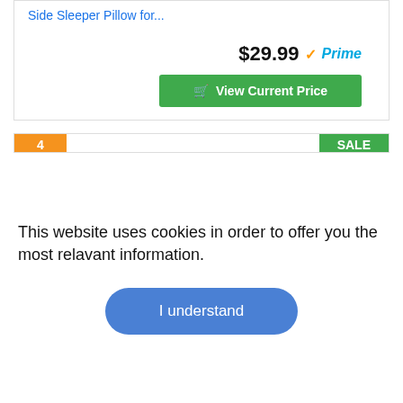Side Sleeper Pillow for...
$29.99 ✓Prime
View Current Price
4
SALE
[Figure (photo): Person in dark blue sweatshirt holding a large gray ergonomic pillow]
This website uses cookies in order to offer you the most relavant information.
I understand